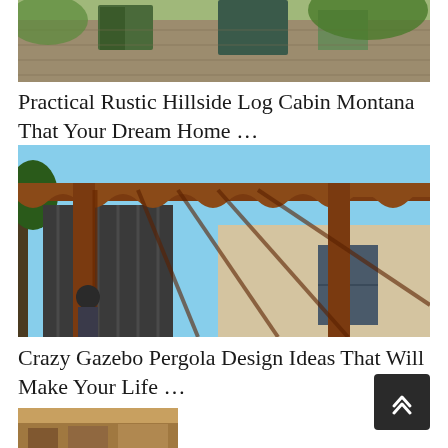[Figure (photo): Partial view of a rustic log cabin in a hillside Montana setting, showing stone and wood exterior with trees in the background]
Practical Rustic Hillside Log Cabin Montana That Your Dream Home …
[Figure (photo): A wooden pergola structure attached to a house with a blue sky background, showing dark wood beams and a decorative wavy roof edge, with a person visible on the left]
Crazy Gazebo Pergola Design Ideas That Will Make Your Life …
[Figure (photo): Partial bottom image showing what appears to be rustic wooden or stone material, cropped at page edge]